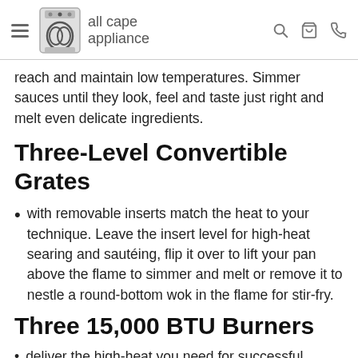all cape appliance
reach and maintain low temperatures. Simmer sauces until they look, feel and taste just right and melt even delicate ingredients.
Three-Level Convertible Grates
with removable inserts match the heat to your technique. Leave the insert level for high-heat searing and sautéing, flip it over to lift your pan above the flame to simmer and melt or remove it to nestle a round-bottom wok in the flame for stir-fry.
Three 15,000 BTU Burners
deliver the high-heat you need for successful searing, sautéing, stir-frying and quickly bringing large stock pots